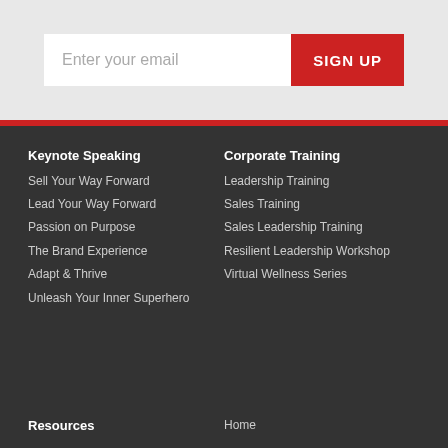Enter your email
SIGN UP
Keynote Speaking
Sell Your Way Forward
Lead Your Way Forward
Passion on Purpose
The Brand Experience
Adapt & Thrive
Unleash Your Inner Superhero
Corporate Training
Leadership Training
Sales Training
Sales Leadership Training
Resilient Leadership Workshop
Virtual Wellness Series
Resources
Home